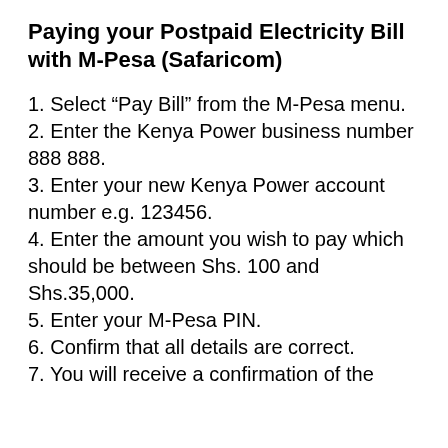Paying your Postpaid Electricity Bill with M-Pesa (Safaricom)
1. Select “Pay Bill” from the M-Pesa menu.
2. Enter the Kenya Power business number 888 888.
3. Enter your new Kenya Power account number e.g. 123456.
4. Enter the amount you wish to pay which should be between Shs. 100 and  Shs.35,000.
5. Enter your M-Pesa PIN.
6. Confirm that all details are correct.
7. You will receive a confirmation of the